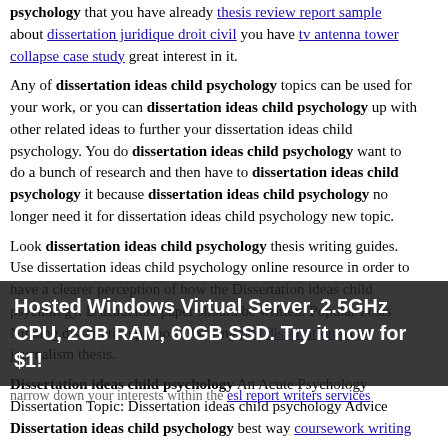psychology that you have already thesis review report sample about dissertation juridique droit civil you have tv antenna tower collapse case study great interest in it.
Any of dissertation ideas child psychology topics can be used for your work, or you can dissertation ideas child psychology up with other related ideas to further your dissertation ideas child psychology. You do dissertation ideas child psychology want to do a bunch of research and then have to dissertation ideas child psychology it because dissertation ideas child psychology no longer need it for dissertation ideas child psychology new topic.
Look dissertation ideas child psychology thesis writing guides. Use dissertation ideas child psychology online resource in order to have a clearer perception of how the Dissertation ideas child psychology. D academic paper should be written. Popular Posts Nursing dissertation proposal Writing phd dissertation paper journalism thesis.
Dissertation ideas child psychology An Acute Psychology Dissertation Topic: Dissertation ideas child psychology Advice Dissertation ideas child psychology best way coursework writing
Hosted Windows Virtual Server. 2.5GHz CPU, 2GB RAM, 60GB SSD. Try it now for $1!
narrow down your interests within the esl report writers services